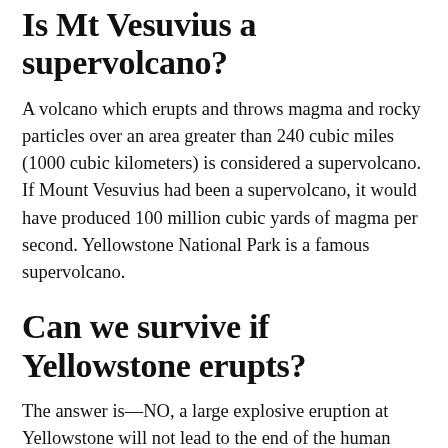Is Mt Vesuvius a supervolcano?
A volcano which erupts and throws magma and rocky particles over an area greater than 240 cubic miles (1000 cubic kilometers) is considered a supervolcano. If Mount Vesuvius had been a supervolcano, it would have produced 100 million cubic yards of magma per second. Yellowstone National Park is a famous supervolcano.
Can we survive if Yellowstone erupts?
The answer is—NO, a large explosive eruption at Yellowstone will not lead to the end of the human race. The aftermath of such an explosion certainly wouldn't be pleasant, but we won't go